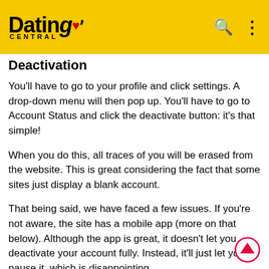Dating Central
Deactivation
You'll have to go to your profile and click settings. A drop-down menu will then pop up. You'll have to go to Account Status and click the deactivate button: it's that simple!
When you do this, all traces of you will be erased from the website. This is great considering the fact that some sites just display a blank account.
That being said, we have faced a few issues. If you're not aware, the site has a mobile app (more on that below). Although the app is great, it doesn't let you deactivate your account fully. Instead, it'll just let you pause it, which is disappointing.